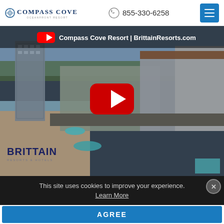Compass Cove Oceanfront Resort | 855-330-6258
[Figure (screenshot): Aerial video thumbnail of Compass Cove Resort and beach with YouTube play button overlay. Title reads: Compass Cove Resort | BrittainResorts.com. Brittain Resorts & Hotels logo in bottom left.]
This site uses cookies to improve your experience.
Learn More
AGREE